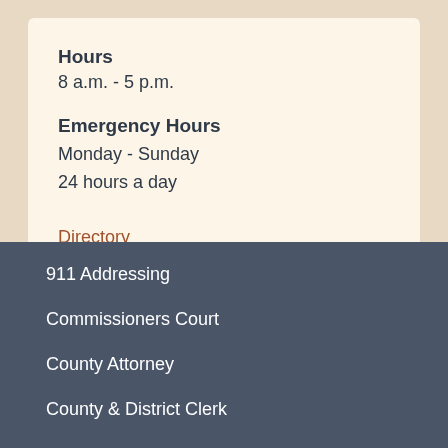Hours
8 a.m. - 5 p.m.
Emergency Hours
Monday - Sunday
24 hours a day
Directory
911 Addressing
Commissioners Court
County Attorney
County & District Clerk